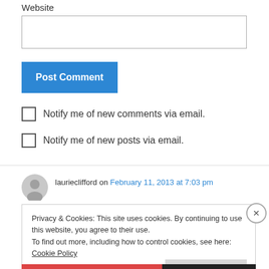Website
[Figure (other): Website text input field (empty)]
[Figure (other): Post Comment button (blue)]
Notify me of new comments via email.
Notify me of new posts via email.
laurieclifford on February 11, 2013 at 7:03 pm
Privacy & Cookies: This site uses cookies. By continuing to use this website, you agree to their use. To find out more, including how to control cookies, see here: Cookie Policy